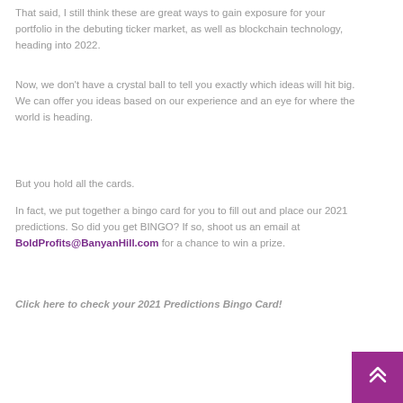That said, I still think these are great ways to gain exposure for your portfolio in the debuting ticker market, as well as blockchain technology, heading into 2022.
Now, we don't have a crystal ball to tell you exactly which ideas will hit big. We can offer you ideas based on our experience and an eye for where the world is heading.
But you hold all the cards.
In fact, we put together a bingo card for you to fill out and place our 2021 predictions. So did you get BINGO? If so, shoot us an email at BoldProfits@BanyanHill.com for a chance to win a prize.
Click here to check your 2021 Predictions Bingo Card!